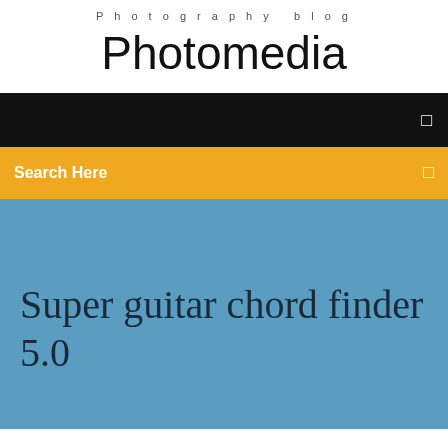Photography blog
Photomedia
☰
Search Here
☰
Super guitar chord finder 5.0